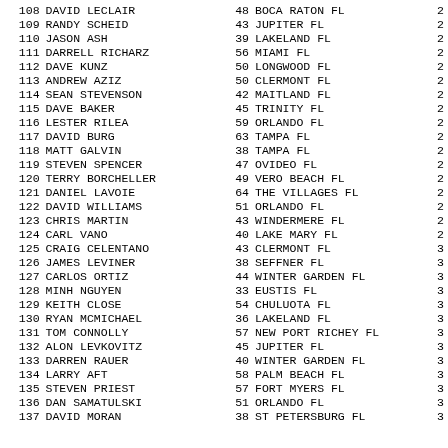| Rank | Name | Age | City/State | Num |
| --- | --- | --- | --- | --- |
| 108 | DAVID LECLAIR | 48 | BOCA RATON FL | 2 |
| 109 | RANDY SCHEID | 43 | JUPITER FL | 2 |
| 110 | JASON ASH | 39 | LAKELAND FL | 2 |
| 111 | DARRELL RICHARZ | 56 | MIAMI FL | 2 |
| 112 | DAVE KUNZ | 50 | LONGWOOD FL | 2 |
| 113 | ANDREW AZIZ | 50 | CLERMONT FL | 2 |
| 114 | SEAN STEVENSON | 42 | MAITLAND FL | 2 |
| 115 | DAVE BAKER | 45 | TRINITY FL | 2 |
| 116 | LESTER RILEA | 59 | ORLANDO FL | 2 |
| 117 | DAVID BURG | 63 | TAMPA FL | 2 |
| 118 | MATT GALVIN | 38 | TAMPA FL | 2 |
| 119 | STEVEN SPENCER | 47 | OVIDEO FL | 2 |
| 120 | TERRY BORCHELLER | 49 | VERO BEACH FL | 2 |
| 121 | DANIEL LAVOIE | 64 | THE VILLAGES FL | 2 |
| 122 | DAVID WILLIAMS | 51 | ORLANDO FL | 2 |
| 123 | CHRIS MARTIN | 43 | WINDERMERE FL | 2 |
| 124 | CARL VANO | 40 | LAKE MARY FL | 2 |
| 125 | CRAIG CELENTANO | 43 | CLERMONT FL | 3 |
| 126 | JAMES LEVINER | 38 | SEFFNER FL | 3 |
| 127 | CARLOS ORTIZ | 44 | WINTER GARDEN FL | 3 |
| 128 | MINH NGUYEN | 33 | EUSTIS FL | 3 |
| 129 | KEITH CLOSE | 54 | CHULUOTA FL | 3 |
| 130 | RYAN MCMICHAEL | 36 | LAKELAND FL | 3 |
| 131 | TOM CONNOLLY | 57 | NEW PORT RICHEY FL | 3 |
| 132 | ALON LEVKOVITZ | 45 | JUPITER FL | 3 |
| 133 | DARREN RAUER | 40 | WINTER GARDEN FL | 3 |
| 134 | LARRY AFT | 58 | PALM BEACH FL | 3 |
| 135 | STEVEN PRIEST | 57 | FORT MYERS FL | 3 |
| 136 | DAN SAMATULSKI | 51 | ORLANDO FL | 3 |
| 137 | DAVID MORAN | 38 | ST PETERSBURG FL | 3 |